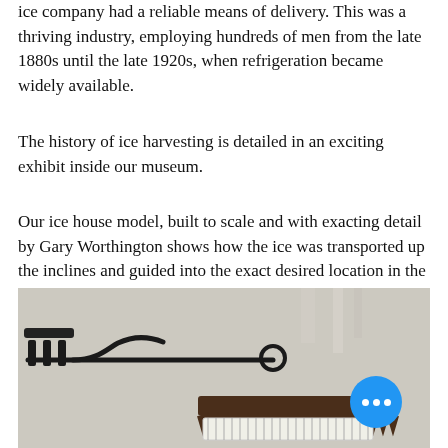ice company had a reliable means of delivery. This was a thriving industry, employing hundreds of men from the late 1880s until the late 1920s, when refrigeration became widely available.
The history of ice harvesting is detailed in an exciting exhibit inside our museum.
Our ice house model, built to scale and with exacting detail by Gary Worthington shows how the ice was transported up the inclines and guided into the exact desired location in the ice house.
[Figure (photo): Museum exhibit photo showing antique ice harvesting tools mounted on a wall: a large rake-like tool with prongs on the left, and a toothed saw/comb tool on the right. A blue circular button with three dots (FAB button) overlays the bottom-right corner of the photo.]